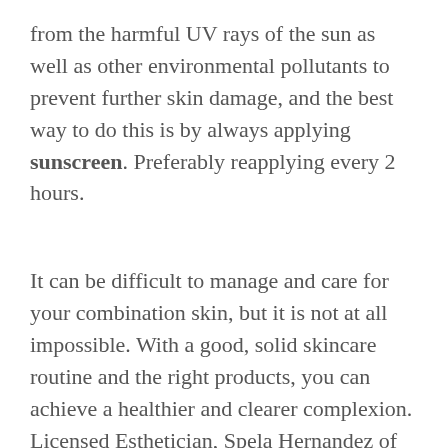from the harmful UV rays of the sun as well as other environmental pollutants to prevent further skin damage, and the best way to do this is by always applying sunscreen. Preferably reapplying every 2 hours.
It can be difficult to manage and care for your combination skin, but it is not at all impossible. With a good, solid skincare routine and the right products, you can achieve a healthier and clearer complexion. Licensed Esthetician, Spela Hernandez of Spalino Skincare, has